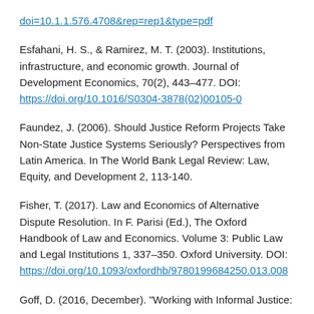doi=10.1.1.576.4708&rep=rep1&type=pdf
Esfahani, H. S., & Ramirez, M. T. (2003). Institutions, infrastructure, and economic growth. Journal of Development Economics, 70(2), 443–477. DOI: https://doi.org/10.1016/S0304-3878(02)00105-0
Faundez, J. (2006). Should Justice Reform Projects Take Non-State Justice Systems Seriously? Perspectives from Latin America. In The World Bank Legal Review: Law, Equity, and Development 2, 113-140.
Fisher, T. (2017). Law and Economics of Alternative Dispute Resolution. In F. Parisi (Ed.), The Oxford Handbook of Law and Economics. Volume 3: Public Law and Legal Institutions 1, 337–350. Oxford University. DOI: https://doi.org/10.1093/oxfordhb/9780199684250.013.008
Goff, D. (2016, December). "Working with Informal Justice: